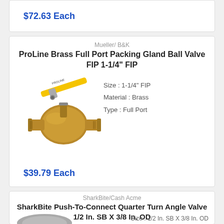$72.63 Each
Mueller/ B&K
ProLine Brass Full Port Packing Gland Ball Valve FIP 1-1/4" FIP
[Figure (illustration): Brass ball valve with yellow handle, full port, FIP connections on both sides]
Size : 1-1/4" FIP
Material : Brass
Type : Full Port
$39.79 Each
SharkBite/Cash Acme
SharkBite Push-To-Connect Quarter Turn Angle Valve 1/2 In. SB X 3/8 In. OD
[Figure (photo): Partial image of SharkBite angle valve, gray/chrome colored fitting]
Size : 1/2 In. SB X 3/8 In. OD